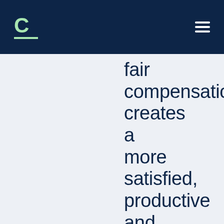C [logo]
fair compensation creates a more satisfied, productive and engaged workforce. Here are five ways they uplift and motivate employees